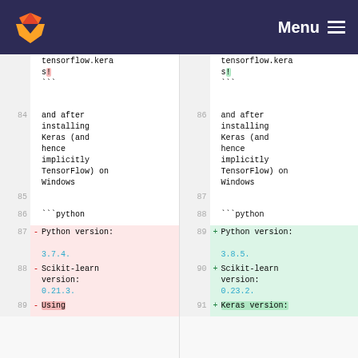GitLab diff view — Menu
84 | and after installing Keras (and hence implicitly TensorFlow) on Windows  ||  86 | and after installing Keras (and hence implicitly TensorFlow) on Windows
85 | (blank)  ||  87 | (blank)
86 | ```python  ||  88 | ```python
87 - Python version: 3.7.4.  ||  89 + Python version: 3.8.5.
88 - Scikit-learn version: 0.21.3.  ||  90 + Scikit-learn version: 0.23.2.
89 - Using  ||  91 + Keras version: